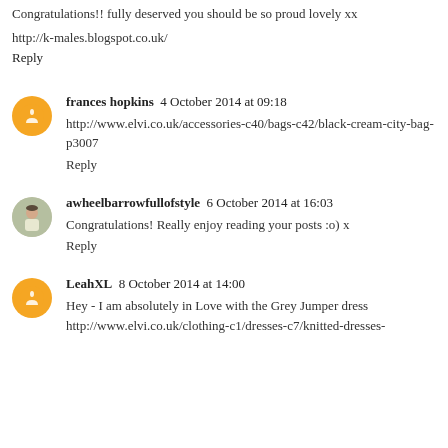Congratulations!! fully deserved you should be so proud lovely xx
http://k-males.blogspot.co.uk/
Reply
frances hopkins  4 October 2014 at 09:18
http://www.elvi.co.uk/accessories-c40/bags-c42/black-cream-city-bag-p3007
Reply
awheelbarrowfullofstyle  6 October 2014 at 16:03
Congratulations! Really enjoy reading your posts :o) x
Reply
LeahXL  8 October 2014 at 14:00
Hey - I am absolutely in Love with the Grey Jumper dress http://www.elvi.co.uk/clothing-c1/dresses-c7/knitted-dresses-